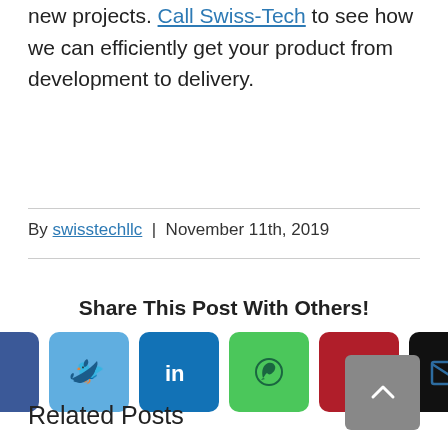new projects. Call Swiss-Tech to see how we can efficiently get your product from development to delivery.
By swisstechllc | November 11th, 2019
Share This Post With Others!
[Figure (infographic): Row of six social share icon buttons: Facebook (dark blue), Twitter (light blue), LinkedIn (blue), WhatsApp (green), Pinterest (red), Email (black)]
Related Posts